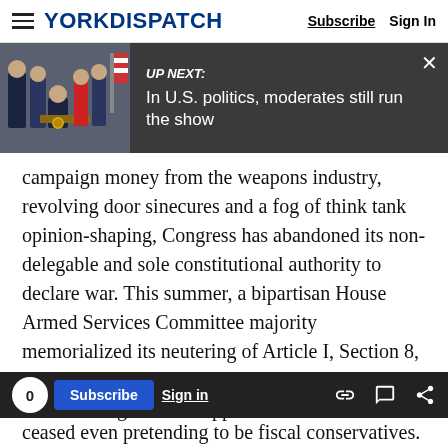YORK DISPATCH | Subscribe | Sign In
[Figure (screenshot): UP NEXT banner with photo of officials at signing ceremony and headline: In U.S. politics, moderates still run the show]
campaign money from the weapons industry, revolving door sinecures and a fog of think tank opinion-shaping, Congress has abandoned its non-delegable and sole constitutional authority to declare war. This summer, a bipartisan House Armed Services Committee majority memorialized its neutering of Article I, Section 8, voting to kill a measure to block war against Iran without congressional approval.
0 Subscribe Sign in
ceased even pretending to be fiscal conservatives.